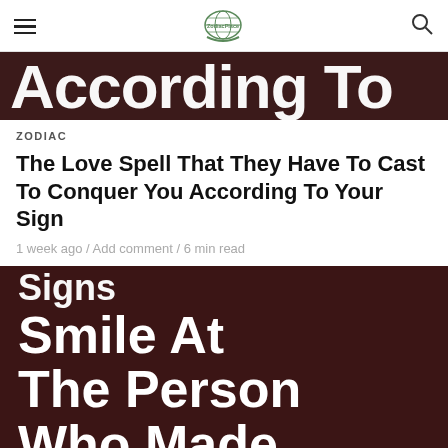[hamburger menu] [logo] [search icon]
[Figure (photo): Dark brown background with large white bold text partially visible reading 'According To']
ZODIAC
The Love Spell That They Have To Cast To Conquer You According To Your Sign
1 week ago / Add comment / 6 min read
[Figure (photo): Dark brown background with large white bold text reading 'Signs Smile At The Person Who Made' (partially visible)]